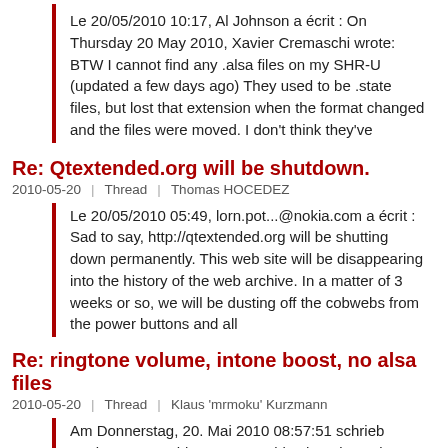Le 20/05/2010 10:17, Al Johnson a écrit : On Thursday 20 May 2010, Xavier Cremaschi wrote: BTW I cannot find any .alsa files on my SHR-U (updated a few days ago) They used to be .state files, but lost that extension when the format changed and the files were moved. I don't think they've
Re: Qtextended.org will be shutdown.
2010-05-20 | Thread | Thomas HOCEDEZ
Le 20/05/2010 05:49, lorn.pot...@nokia.com a écrit : Sad to say, http://qtextended.org will be shutting down permanently. This web site will be disappearing into the history of the web archive. In a matter of 3 weeks or so, we will be dusting off the cobwebs from the power buttons and all
Re: ringtone volume, intone boost, no alsa files
2010-05-20 | Thread | Klaus 'mrmoku' Kurzmann
Am Donnerstag, 20. Mai 2010 08:57:51 schrieb Xavier Cremaschi: Forgot to add : changing volume from 0 to 100 in shr-settings/profile seems to do nothing :/ Setting ringtone volume via phone profiles did never work. -- Klaus 'mrmoku' Kurzmann ___
Re: [Qtmoko] v23 doesn't recognize when